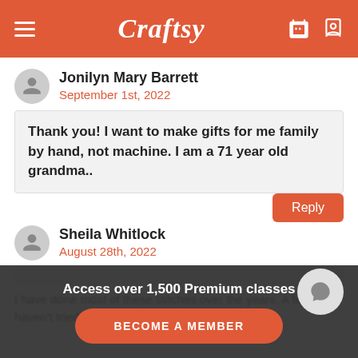Craftsy
Jonilyn Mary Barrett
September 1st, 2022
Thank you! I want to make gifts for me family by hand, not machine. I am a 71 year old grandma..
Sheila Whitlock
August 28th, 2022
I have done most of these stitches over the years. A few that I haven't tried. Now I can follow the...
Access over 1,500 Premium classes
BECOME A MEMBER